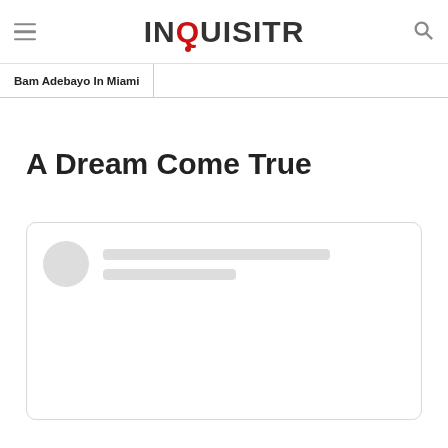INQUISITR
Bam Adebayo In Miami
A Dream Come True
[Figure (screenshot): Embedded social media post loading placeholder with skeleton avatar circle and two skeleton lines for username/handle]